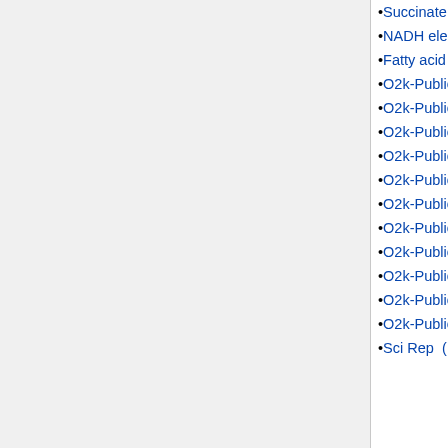Succinate pathway  (← links)
NADH electron transfer-pathway state  (← links)
Fatty acid oxidation pathway control state  (← links)
O2k-Publications: OXPHOS  (← links)
O2k-Publications: ET  (← links)
O2k-Publications: LEAK  (← links)
O2k-Publications: F  (← links)
O2k-Publications: N  (← links)
O2k-Publications: S  (← links)
O2k-Publications: DQ  (← links)
O2k-Publications: CIV  (← links)
O2k-Publications: NS  (← links)
O2k-Publications: ROX  (← links)
O2k-Publications: Oxygraph-2k  (← links)
Sci Rep  (← links)